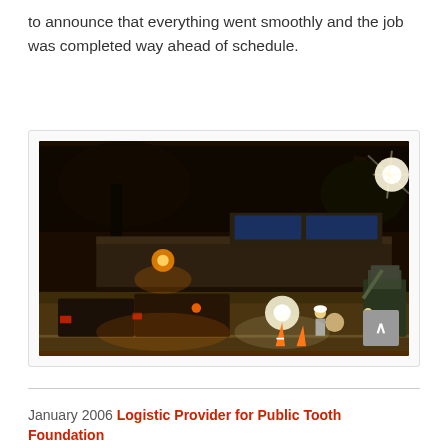to announce that everything went smoothly and the job was completed way ahead of schedule.
[Figure (photo): Night-time street scene showing vehicles, construction/road workers, orange traffic cones, and bright lights on a city road with an overpass or elevated structure in background. Workers visible with hard hats and reflective vests. Trees silhouetted against dark sky with a bright street light on the right.]
January 2006 Logistic Provider for Public Tooth Foundation